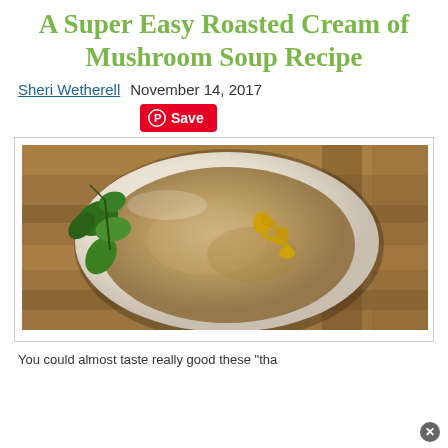A Super Easy Roasted Cream of Mushroom Soup Recipe
Sheri Wetherell  November 14, 2017
[Figure (photo): Overhead photo of a white bowl of cream of mushroom soup garnished with fresh parsley and a drizzle of olive oil, placed on a wooden cutting board surface.]
You could almost taste really good these "tha